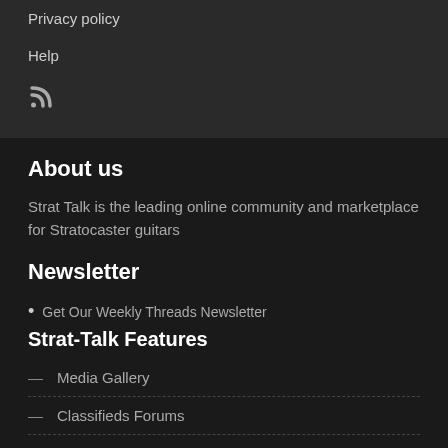Privacy policy
Help
[Figure (other): RSS feed icon]
About us
Strat Talk is the leading online community and marketplace for Stratocaster guitars
Newsletter
Get Our Weekly Threads Newsletter
Strat-Talk Features
Media Gallery
Classifieds Forums
XenTrader
Member List
Your Profile